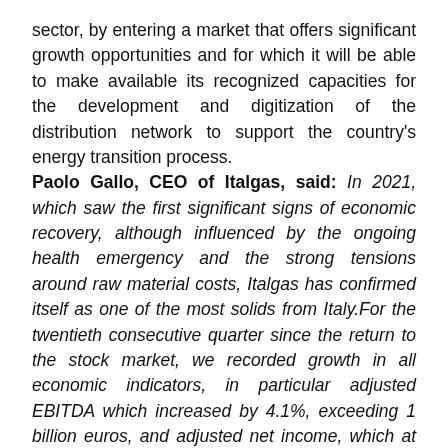sector, by entering a market that offers significant growth opportunities and for which it will be able to make available its recognized capacities for the development and digitization of the distribution network to support the country's energy transition process. Paolo Gallo, CEO of Italgas, said: In 2021, which saw the first significant signs of economic recovery, although influenced by the ongoing health emergency and the strong tensions around raw material costs, Italgas has confirmed itself as one of the most solids from Italy.For the twentieth consecutive quarter since the return to the stock market, we recorded growth in all economic indicators, in particular adjusted EBITDA which increased by 4.1%, exceeding 1 billion euros, and adjusted net income, which at +6% came to 367.7 million euros. Investments, which reached a record of 865 million euros, increased by 11.5% compared to the